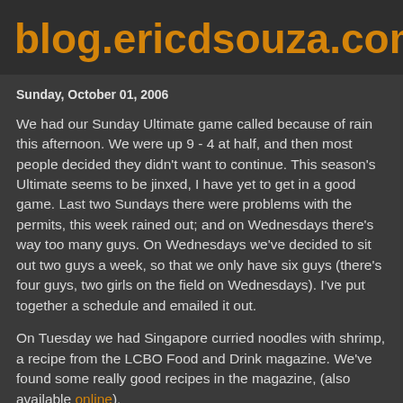blog.ericdsouza.com
Sunday, October 01, 2006
We had our Sunday Ultimate game called because of rain this afternoon. We were up 9 - 4 at half, and then most people decided they didn't want to continue. This season's Ultimate seems to be jinxed, I have yet to get in a good game. Last two Sundays there were problems with the permits, this week rained out; and on Wednesdays there's way too many guys. On Wednesdays we've decided to sit out two guys a week, so that we only have six guys (there's four guys, two girls on the field on Wednesdays). I've put together a schedule and emailed it out.
On Tuesday we had Singapore curried noodles with shrimp, a recipe from the LCBO Food and Drink magazine. We've found some really good recipes in the magazine, (also available online).